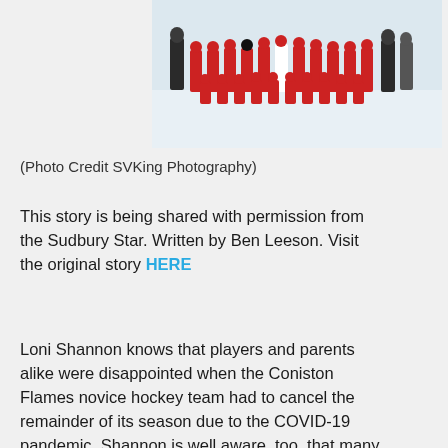[Figure (photo): Youth hockey team photo — children in red hockey jerseys posed on ice, with coaches/adults standing behind them]
(Photo Credit SVKing Photography)
This story is being shared with permission from the Sudbury Star. Written by Ben Leeson. Visit the original story HERE
Loni Shannon knows that players and parents alike were disappointed when the Coniston Flames novice hockey team had to cancel the remainder of its season due to the COVID-19 pandemic. Shannon is well aware, too, that many of their families are now under greater financial strain due to the pandemic, so